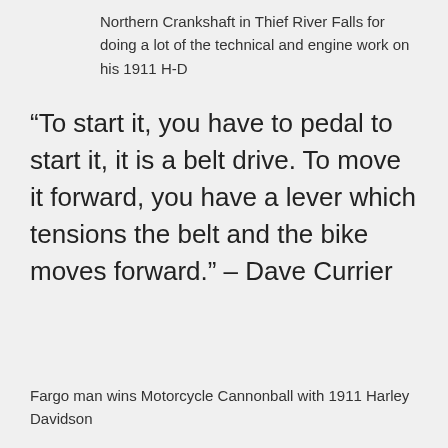Northern Crankshaft in Thief River Falls for doing a lot of the technical and engine work on his 1911 H-D
“To start it, you have to pedal to start it, it is a belt drive. To move it forward, you have a lever which tensions the belt and the bike moves forward.” – Dave Currier
Fargo man wins Motorcycle Cannonball with 1911 Harley Davidson